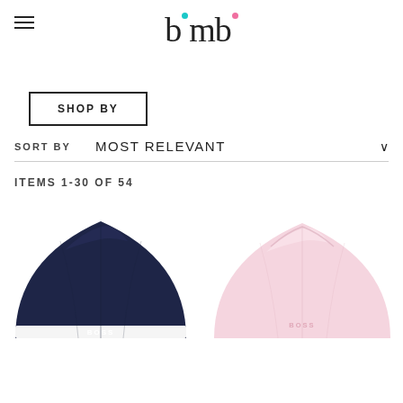bimbi
SHOP BY
SORT BY   MOST RELEVANT
ITEMS 1-30 OF 54
[Figure (photo): Two baby hats — one navy blue BOSS branded beanie on the left, one light pink BOSS branded beanie on the right, shown from behind/top view]